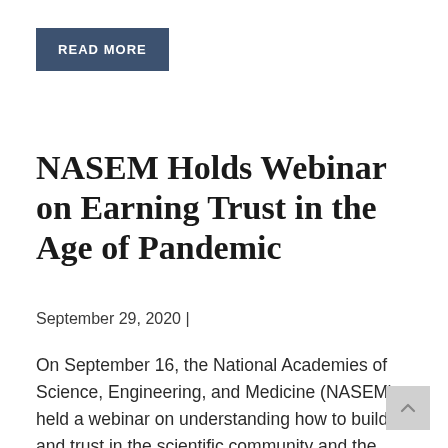READ MORE
NASEM Holds Webinar on Earning Trust in the Age of Pandemic
September 29, 2020 |
On September 16, the National Academies of Science, Engineering, and Medicine (NASEM) held a webinar on understanding how to build and trust in the scientific community and the development in a potential COVID-19 vaccine. The webinar